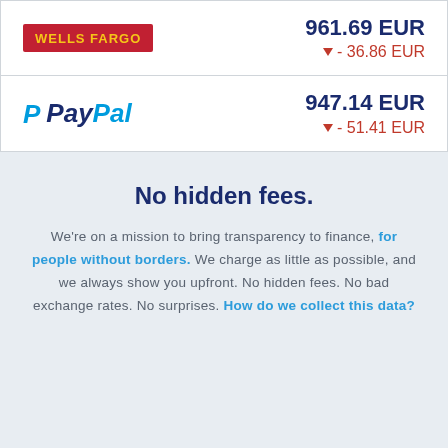| Provider | Amount | Change |
| --- | --- | --- |
| Wells Fargo | 961.69 EUR | ▼ - 36.86 EUR |
| PayPal | 947.14 EUR | ▼ - 51.41 EUR |
No hidden fees.
We're on a mission to bring transparency to finance, for people without borders. We charge as little as possible, and we always show you upfront. No hidden fees. No bad exchange rates. No surprises. How do we collect this data?